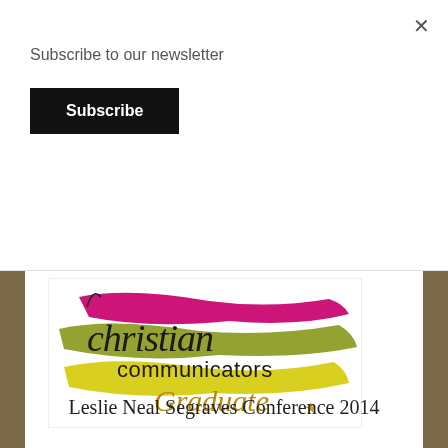Subscribe to our newsletter
Subscribe
[Figure (logo): Christian Communicators Graduate logo with colorful brush strokes in magenta, olive green, and yellow, with stylized script and serif text]
Leslie Neal Segraves Conference 2014